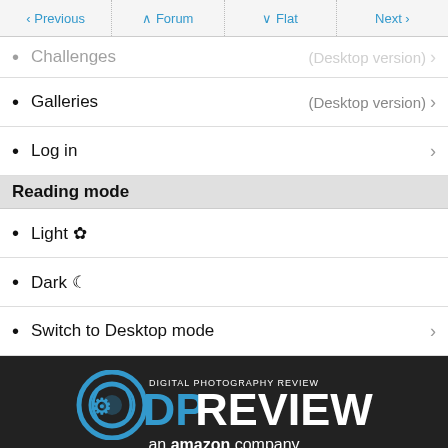Previous | Forum | Flat | Next
Challenges (Desktop version) >
Galleries (Desktop version) >
Log in >
Reading mode
Light ☼
Dark ☽
Switch to Desktop mode >
[Figure (logo): DPReview - Digital Photography Review logo with circular camera icon, blue and white text, 'an amazon company' tagline]
Privacy • Legal • About us · Community Guidelines • Feedback · © 1998–2022 Digital Photography Review